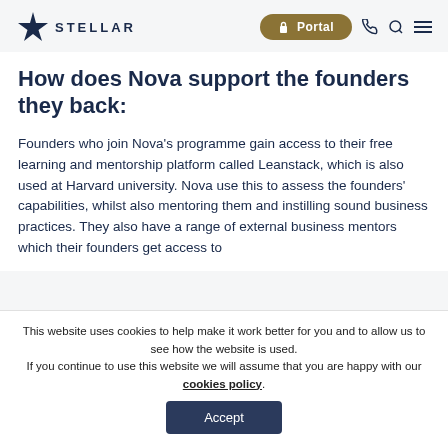STELLAR — Portal navigation header
How does Nova support the founders they back:
Founders who join Nova's programme gain access to their free learning and mentorship platform called Leanstack, which is also used at Harvard university. Nova use this to assess the founders' capabilities, whilst also mentoring them and instilling sound business practices. They also have a range of external business mentors which their founders get access to
This website uses cookies to help make it work better for you and to allow us to see how the website is used. If you continue to use this website we will assume that you are happy with our cookies policy.
Accept